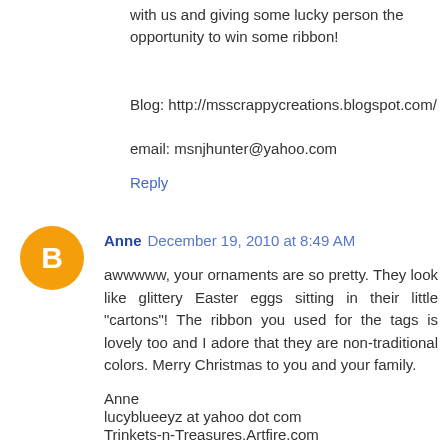with us and giving some lucky person the opportunity to win some ribbon!
Blog: http://msscrappycreations.blogspot.com/
email: msnjhunter@yahoo.com
Reply
Anne  December 19, 2010 at 8:49 AM
awwwww, your ornaments are so pretty. They look like glittery Easter eggs sitting in their little "cartons"! The ribbon you used for the tags is lovely too and I adore that they are non-traditional colors. Merry Christmas to you and your family.
Anne
lucyblueeyz at yahoo dot com
Trinkets-n-Treasures.Artfire.com
Reply